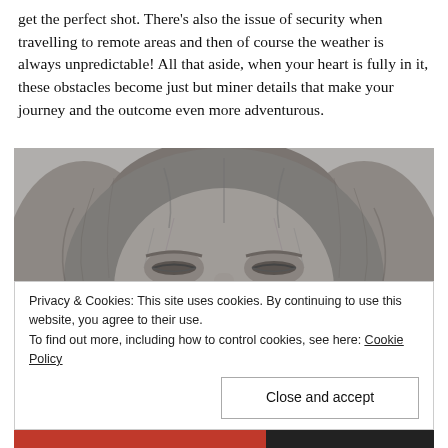get the perfect shot. There's also the issue of security when travelling to remote areas and then of course the weather is always unpredictable! All that aside, when your heart is fully in it, these obstacles become just but miner details that make your journey and the outcome even more adventurous.
[Figure (photo): Black and white close-up photograph of a lion's face with eyes partially closed]
Privacy & Cookies: This site uses cookies. By continuing to use this website, you agree to their use.
To find out more, including how to control cookies, see here: Cookie Policy
Close and accept